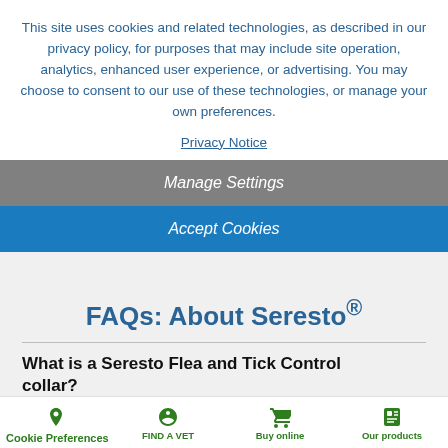This site uses cookies and related technologies, as described in our privacy policy, for purposes that may include site operation, analytics, enhanced user experience, or advertising. You may choose to consent to our use of these technologies, or manage your own preferences.
Privacy Notice
Manage Settings
Accept Cookies
FAQs: About Seresto®
What is a Seresto Flea and Tick Control collar?
It's an innovative collar that is clinically proven to
FIND A STORE   FIND A VET   Buy online   Our products
Cookie Preferences